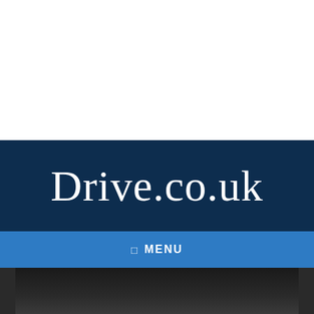Drive.co.uk
Drive.co.uk
☰ MENU
[Figure (photo): Dark image area showing partial vehicle photograph]
Share This ∨ ✕